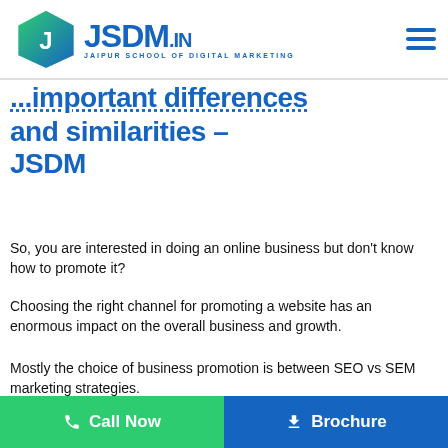[Figure (logo): JSDM.in - Jaipur School of Digital Marketing logo with hexagon icon]
...important differences and similarities – JSDM
So, you are interested in doing an online business but don't know how to promote it?
Choosing the right channel for promoting a website has an enormous impact on the overall business and growth.
Mostly the choice of business promotion is between SEO vs SEM marketing strategies.
So, you need to know the...
📞 Call Now   ⬇ Brochure